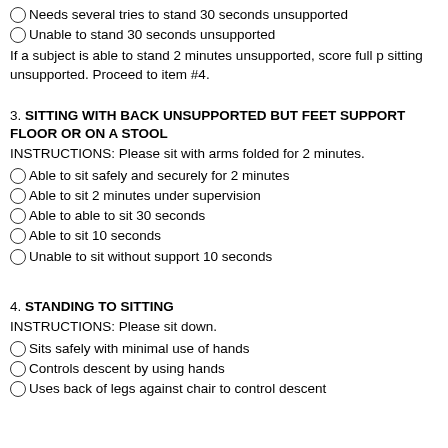Needs several tries to stand 30 seconds unsupported
Unable to stand 30 seconds unsupported
If a subject is able to stand 2 minutes unsupported, score full p sitting unsupported. Proceed to item #4.
3. SITTING WITH BACK UNSUPPORTED BUT FEET SUPPORT FLOOR OR ON A STOOL
INSTRUCTIONS: Please sit with arms folded for 2 minutes.
Able to sit safely and securely for 2 minutes
Able to sit 2 minutes under supervision
Able to able to sit 30 seconds
Able to sit 10 seconds
Unable to sit without support 10 seconds
4. STANDING TO SITTING
INSTRUCTIONS: Please sit down.
Sits safely with minimal use of hands
Controls descent by using hands
Uses back of legs against chair to control descent